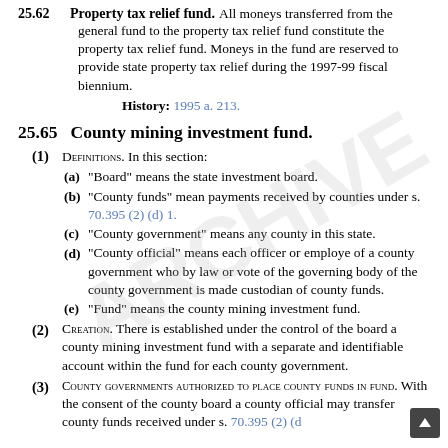25.62 Property tax relief fund. All moneys transferred from the general fund to the property tax relief fund constitute the property tax relief fund. Moneys in the fund are reserved to provide state property tax relief during the 1997-99 fiscal biennium.
History: 1995 a. 213.
25.65 County mining investment fund.
(1) Definitions. In this section:
(a) "Board" means the state investment board.
(b) "County funds" mean payments received by counties under s. 70.395 (2) (d) 1.
(c) "County government" means any county in this state.
(d) "County official" means each officer or employe of a county government who by law or vote of the governing body of the county government is made custodian of county funds.
(e) "Fund" means the county mining investment fund.
(2) Creation. There is established under the control of the board a county mining investment fund with a separate and identifiable account within the fund for each county government.
(3) County governments authorized to place county funds in fund. With the consent of the county board a county official may transfer county funds received under s. 70.395 (2) (d)